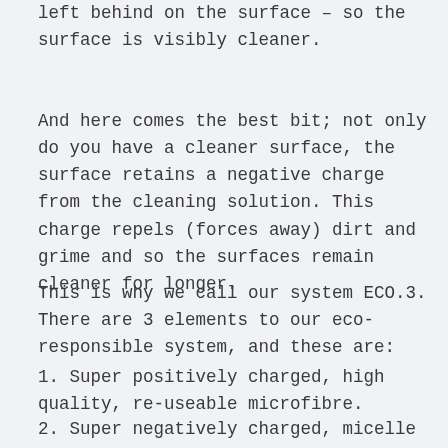left behind on the surface – so the surface is visibly cleaner.
And here comes the best bit; not only do you have a cleaner surface, the surface retains a negative charge from the cleaning solution. This charge repels (forces away) dirt and grime and so the surfaces remain cleaner for longer.
This is why we call our system ECO.3. There are 3 elements to our eco-responsible system, and these are:
1. Super positively charged, high quality, re-useable microfibre.
2. Super negatively charged, micelle based, eco-responsible cleaning liquids